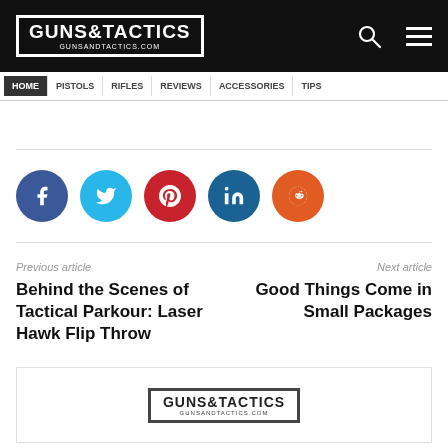GUNS & TACTICS — GUNSANDTACTICS.COM
[Figure (other): Social share buttons: Facebook, Twitter, Pinterest, LinkedIn, Reddit]
Previous article
Next article
Behind the Scenes of Tactical Parkour: Laser Hawk Flip Throw
Good Things Come in Small Packages
[Figure (logo): Guns & Tactics logo in footer area]